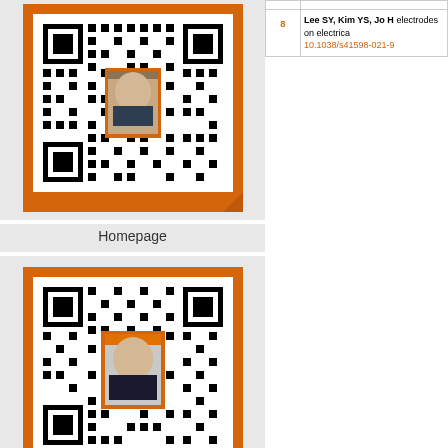[Figure (other): QR code with orange frame and a person photo overlay, labeled Homepage]
Homepage
[Figure (other): QR code with orange frame and a person photo overlay, labeled Online Submission]
Online Submission
|  |  |
| --- | --- |
| 8 | Lee SY, Kim YS, Jo H... electrodes on electrica... 10.1038/s41598-021-9... |